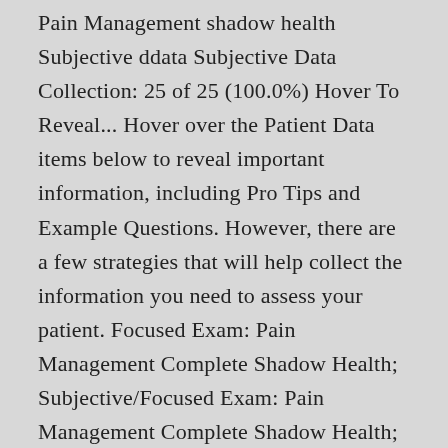Pain Management shadow health Subjective ddata Subjective Data Collection: 25 of 25 (100.0%) Hover To Reveal... Hover over the Patient Data items below to reveal important information, including Pro Tips and Example Questions. However, there are a few strategies that will help collect the information you need to assess your patient. Focused Exam: Pain Management Complete Shadow Health; Subjective/Focused Exam: Pain Management Complete Shadow Health; Subjective Focused Exam: Pain Management Pain Management: Pain is one of the most common reasons patients make appointments to see their health care providers. Case 01: Focused Exam: Pain Management Results|Tanner Baileycomplete